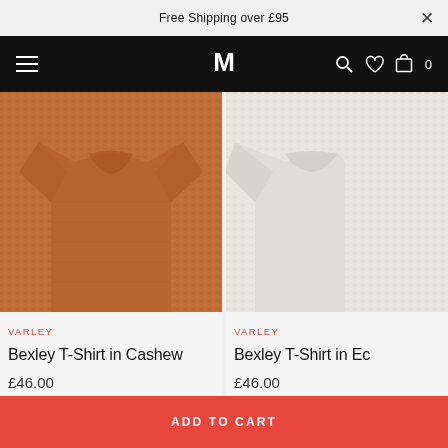Free Shipping over £95
[Figure (screenshot): Navigation bar with hamburger menu, MM logo, search, heart, and cart icons on black background]
[Figure (photo): Brown/cashew textured knit t-shirt product image]
VARLEY
Bexley T-Shirt in Cashew
£46.00
[Figure (photo): Ecru/off-white textured knit t-shirt product image, partially cropped]
VARLEY
Bexley T-Shirt in Ec
£46.00
ADD TO CART